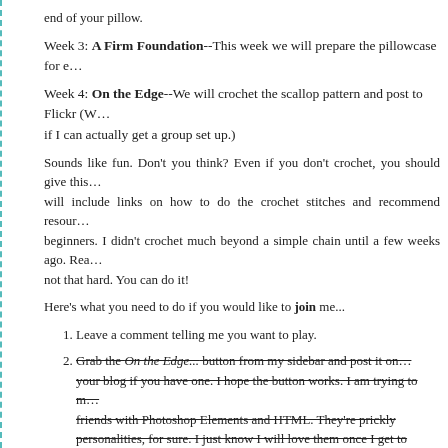end of your pillow.
Week 3: A Firm Foundation--This week we will prepare the pillowcase for e…
Week 4: On the Edge--We will crochet the scallop pattern and post to Flickr (W… if I can actually get a group set up.)
Sounds like fun. Don't you think? Even if you don't crochet, you should give this… will include links on how to do the crochet stitches and recommend resour… beginners. I didn't crochet much beyond a simple chain until a few weeks ago. Rea… not that hard. You can do it!
Here's what you need to do if you would like to join me...
Leave a comment telling me you want to play.
Grab the On the Edge... button from my sidebar and post it on your blog if you have one. I hope the button works. I am trying to make friends with Photoshop Elements and HTML. They're prickly personalities, for sure. I just know I will love them once I get to know them, though.
Watch for the Week 1 post next Monday, March 1st.
See? Easy. I hope you can play.